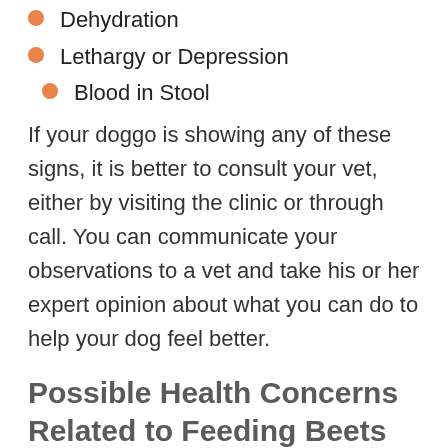Dehydration
Lethargy or Depression
Blood in Stool
If your doggo is showing any of these signs, it is better to consult your vet, either by visiting the clinic or through call. You can communicate your observations to a vet and take his or her expert opinion about what you can do to help your dog feel better.
Possible Health Concerns Related to Feeding Beets to Your Dog
If you are concerned about feeding beets to your dog or the possible health issues that may